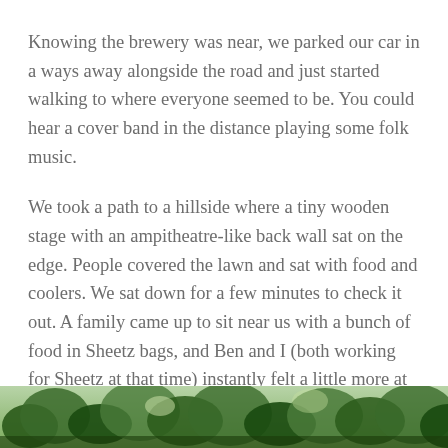Knowing the brewery was near, we parked our car in a ways away alongside the road and just started walking to where everyone seemed to be. You could hear a cover band in the distance playing some folk music.
We took a path to a hillside where a tiny wooden stage with an ampitheatre-like back wall sat on the edge. People covered the lawn and sat with food and coolers. We sat down for a few minutes to check it out. A family came up to sit near us with a bunch of food in Sheetz bags, and Ben and I (both working for Sheetz at that time) instantly felt a little more at home.
[Figure (photo): Outdoor photo showing trees and greenery, partially visible at the bottom of the page]